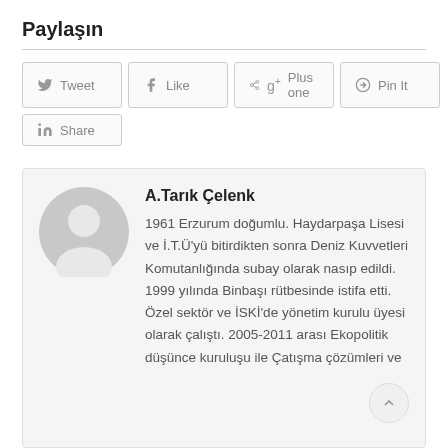Paylaşın
[Figure (screenshot): Social sharing buttons: Tweet, Like, Plus one, Pin It, Share]
A.Tarık Çelenk
1961 Erzurum doğumlu. Haydarpaşa Lisesi ve İ.T.Ü'yü bitirdikten sonra Deniz Kuvvetleri Komutanlığında subay olarak nasıp edildi. 1999 yılında Binbaşı rütbesinde istifa etti. Özel sektör ve İSKİ'de yönetim kurulu üyesi olarak çalıştı. 2005-2011 arası Ekopolitik düşünce kuruluşu ile Çatışma çözümleri ve